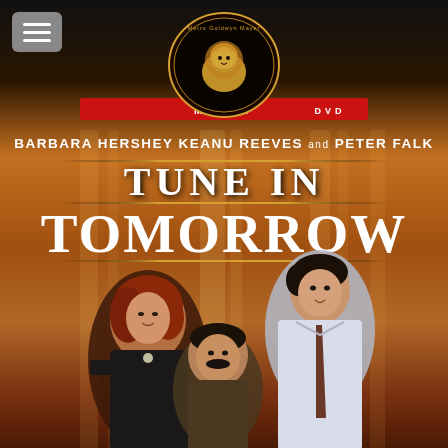[Figure (photo): Movie DVD cover for 'Tune in Tomorrow' (MGM DVD). Shows three actors (Barbara Hershey, Keanu Reeves, Peter Falk) on an orange/amber warm-toned background. MGM lion logo at top center. Actor names: Barbara Hershey, Keanu Reeves and Peter Falk. Title: TUNE IN TOMORROW in large white serif letters with gold decorative lines.]